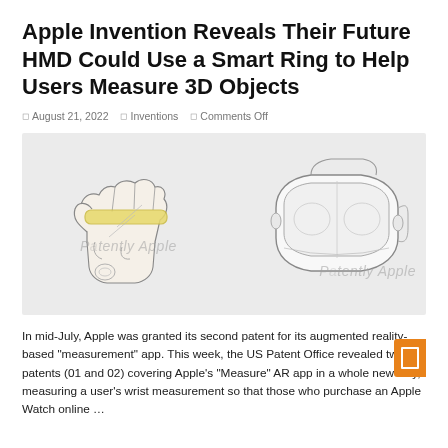Apple Invention Reveals Their Future HMD Could Use a Smart Ring to Help Users Measure 3D Objects
August 21, 2022   Inventions   Comments Off
[Figure (illustration): Patent drawing illustration showing two figures on a grey background: left figure shows a hand wearing a yellow smart ring, right figure shows an HMD (head-mounted display) headset. Both figures have 'Patently Apple' watermarks.]
In mid-July, Apple was granted its second patent for its augmented reality-based “measurement” app. This week, the US Patent Office revealed two patents (01 and 02) covering Apple’s “Measure” AR app in a whole new way, measuring a user’s wrist measurement so that those who purchase an Apple Watch online …